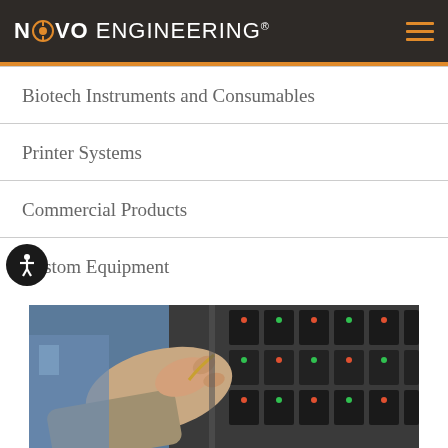NOVO ENGINEERING®
Biotech Instruments and Consumables
Printer Systems
Commercial Products
Custom Equipment
[Figure (photo): Close-up of a person's hands working with electronic components or circuit boards mounted on a rack, industrial/engineering setting]